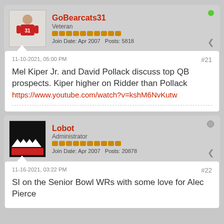GoBearcats31 — Veteran — Join Date: Apr 2007 — Posts: 5818
11-10-2021, 05:00 PM — #21
Mel Kiper Jr. and David Pollack discuss top QB prospects. Kiper higher on Ridder than Pollack https://www.youtube.com/watch?v=kshM6NvKutw
Lobot — Administrator — Join Date: Apr 2007 — Posts: 20878
11-16-2021, 03:22 PM — #22
SI on the Senior Bowl WRs with some love for Alec Pierce